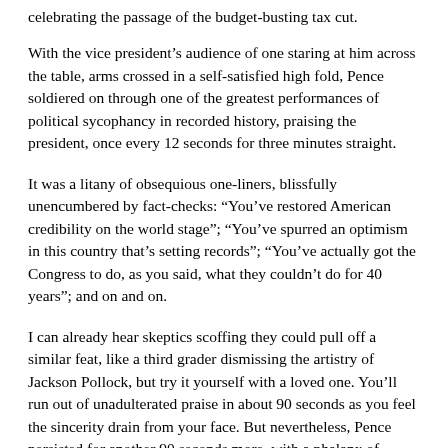celebrating the passage of the budget-busting tax cut.
With the vice president’s audience of one staring at him across the table, arms crossed in a self-satisfied high fold, Pence soldiered on through one of the greatest performances of political sycophancy in recorded history, praising the president, once every 12 seconds for three minutes straight.
It was a litany of obsequious one-liners, blissfully unencumbered by fact-checks: “You’ve restored American credibility on the world stage”; “You’ve spurred an optimism in this country that’s setting records”; “You’ve actually got the Congress to do, as you said, what they couldn’t do for 40 years”; and on and on.
I can already hear skeptics scoffing they could pull off a similar feat, like a third grader dismissing the artistry of Jackson Pollock, but try it yourself with a loved one. You’ll run out of unadulterated praise in about 90 seconds as you feel the sincerity drain from your face. But nevertheless, Pence persisted for another 90 seconds more, with a phalanx of cameras watching on, looking directly into the unblinking eyes of the man who stands between him and his life’s ambition.
The cavernous gap between Pence’s stick-to-the-surreal-script public statements and what must be his internal monologues become more